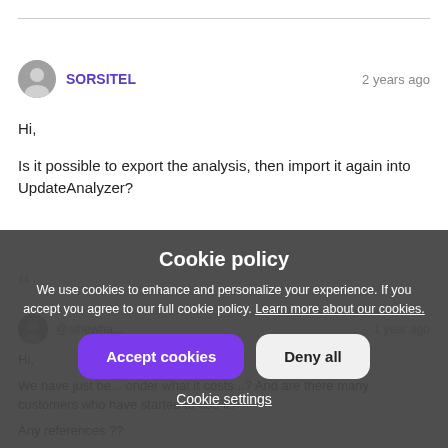SORSITEL — 2 years ago
Hi,

Is it possible to export the analysis, then import it again into UpdateAnalyzer?
@sthewha... — 1 year ago

Hi,

We have just be... onder what it costs...? And are there many customers who have started to use it?

Any references ??
Cookie policy
We use cookies to enhance and personalize your experience. If you accept you agree to our full cookie policy. Learn more about our cookies.
Accept cookies | Deny all
Cookie settings